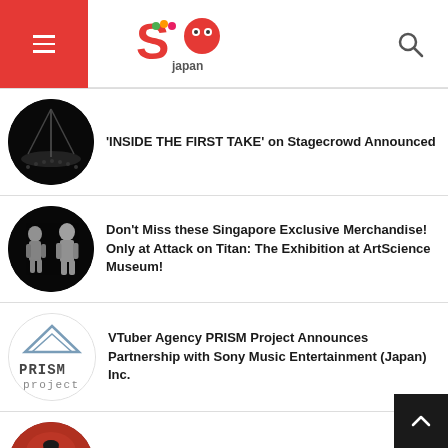SO Japan
'INSIDE THE FIRST TAKE' on Stagecrowd Announced
Don't Miss these Singapore Exclusive Merchandise! Only at Attack on Titan: The Exhibition at ArtScience Museum!
VTuber Agency PRISM Project Announces Partnership with Sony Music Entertainment (Japan) Inc.
Anime Demon Slayer: Kimetsu no Yaiba Anniversary Event Ends on A High Note